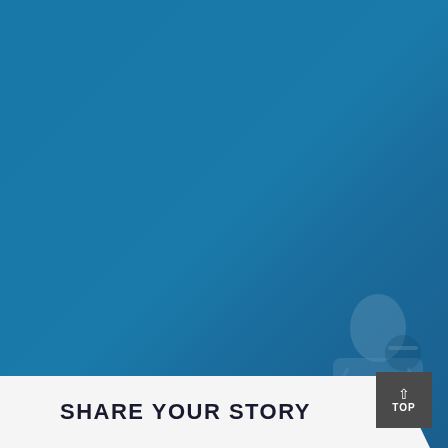[Figure (photo): Blue-tinted background image with a person visible in the lower right area, overlaid with a strong blue color wash. A camera or equipment element is faintly visible in bottom right corner.]
SHARE YOUR STORY
TOP